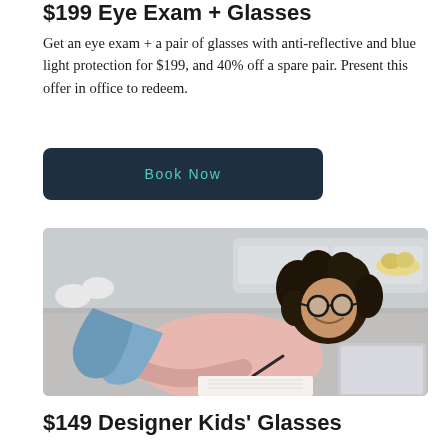$199 Eye Exam + Glasses
Get an eye exam + a pair of glasses with anti-reflective and blue light protection for $199, and 40% off a spare pair. Present this offer in office to redeem.
Book Now
[Figure (photo): Young woman with curly hair wearing round glasses, lying on a carpet, writing in a notebook with a laptop in front of her, smiling]
$149 Designer Kids' Glasses